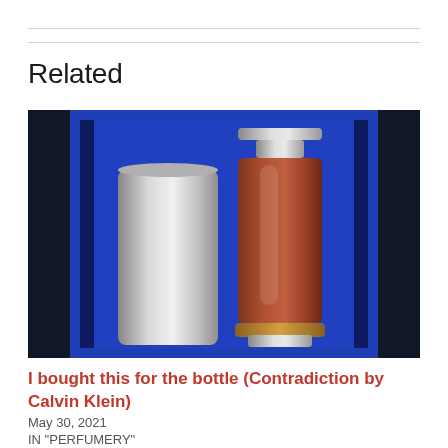Related
[Figure (photo): A perfume product photo showing two cylindrical containers — a silver/grey tube on the left and a taller amber/brown perfume bottle with a metal cap on the right — displayed against a deep blue background that appears to be the inside of a blue box.]
I bought this for the bottle (Contradiction by Calvin Klein)
May 30, 2021
IN "PERFUMERY"